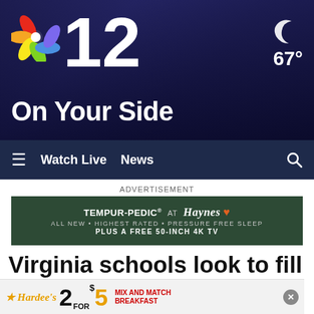[Figure (screenshot): NBC12 On Your Side TV station header with logo, channel 12 branding, city skyline background, weather icon and 67° temperature]
≡  Watch Live  News  🔍
ADVERTISEMENT
[Figure (other): Tempur-Pedic at Haynes advertisement banner: ALL NEW • HIGHEST RATED • PRESSURE FREE SLEEP PLUS A FREE 50-INCH 4K TV]
Virginia schools look to fill over a thousand teacher vacancies
Classroom
[Figure (other): Hardee's advertisement: 2 for $5 Mix and Match Breakfast]